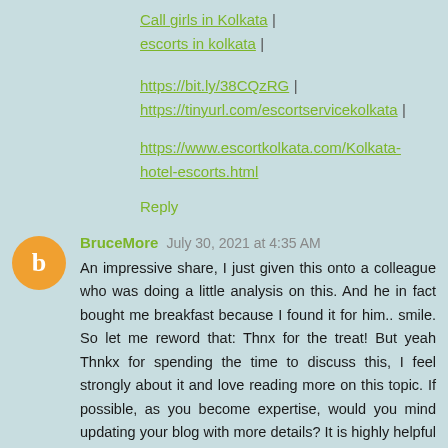Call girls in Kolkata | escorts in kolkata |
https://bit.ly/38CQzRG | https://tinyurl.com/escortservicekolkata |
https://www.escortkolkata.com/Kolkata-hotel-escorts.html
Reply
BruceMore July 30, 2021 at 4:35 AM
An impressive share, I just given this onto a colleague who was doing a little analysis on this. And he in fact bought me breakfast because I found it for him.. smile. So let me reword that: Thnx for the treat! But yeah Thnkx for spending the time to discuss this, I feel strongly about it and love reading more on this topic. If possible, as you become expertise, would you mind updating your blog with more details? It is highly helpful for me. Big thumb up for this blog post!